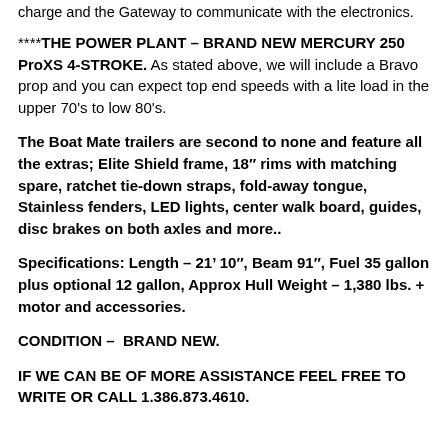charge and the Gateway to communicate with the electronics.
****THE POWER PLANT – BRAND NEW MERCURY 250 ProXS 4-STROKE. As stated above, we will include a Bravo prop and you can expect top end speeds with a lite load in the upper 70's to low 80's.
The Boat Mate trailers are second to none and feature all the extras; Elite Shield frame, 18″ rims with matching spare, ratchet tie-down straps, fold-away tongue, Stainless fenders, LED lights, center walk board, guides, disc brakes on both axles and more..
Specifications: Length – 21' 10″, Beam 91″, Fuel 35 gallon plus optional 12 gallon, Approx Hull Weight – 1,380 lbs. + motor and accessories.
CONDITION – BRAND NEW.
IF WE CAN BE OF MORE ASSISTANCE FEEL FREE TO WRITE OR CALL 1.386.873.4610.